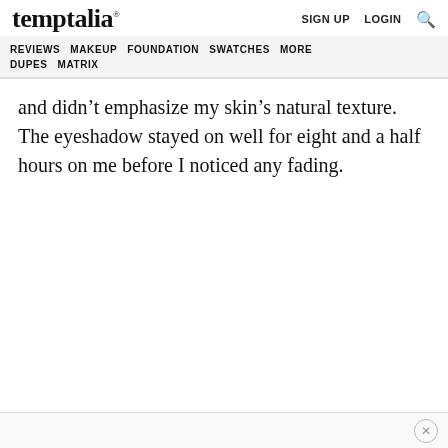temptalia® SIGN UP LOGIN 🔍
REVIEWS MAKEUP FOUNDATION SWATCHES MORE DUPES MATRIX
and didn't emphasize my skin's natural texture. The eyeshadow stayed on well for eight and a half hours on me before I noticed any fading.